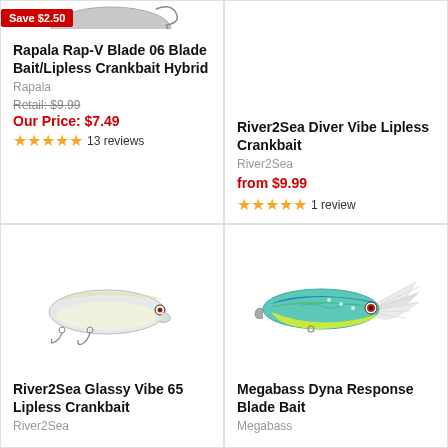[Figure (photo): Rapala Rap-V Blade 06 fishing lure (partially visible at top)]
Save $2.50
Rapala Rap-V Blade 06 Blade Bait/Lipless Crankbait Hybrid
Rapala
Retail: $9.99
Our Price: $7.49
★★★★★ 13 reviews
[Figure (photo): River2Sea Diver Vibe Lipless Crankbait fishing lure (no image shown)]
River2Sea Diver Vibe Lipless Crankbait
River2Sea
from $9.99
★★★★★ 1 review
[Figure (photo): River2Sea Glassy Vibe 65 Lipless Crankbait - white/silver fishing lure]
River2Sea Glassy Vibe 65 Lipless Crankbait
River2Sea
[Figure (photo): Megabass Dyna Response Blade Bait - blue/green/yellow fishing lure with white feather tail]
Megabass Dyna Response Blade Bait
Megabass